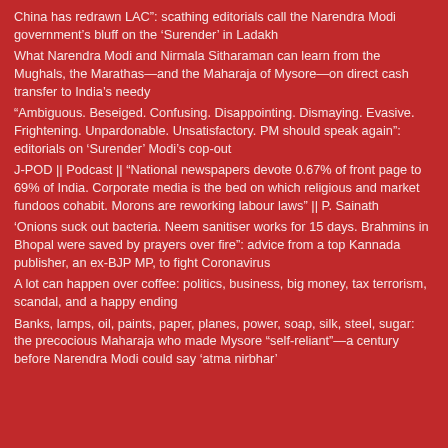China has redrawn LAC": scathing editorials call the Narendra Modi government's bluff on the ‘Surender’ in Ladakh
What Narendra Modi and Nirmala Sitharaman can learn from the Mughals, the Marathas—and the Maharaja of Mysore—on direct cash transfer to India's needy
“Ambiguous. Beseiged. Confusing. Disappointing. Dismaying. Evasive. Frightening. Unpardonable. Unsatisfactory. PM should speak again”: editorials on ‘Surender’ Modi’s cop-out
J-POD || Podcast || “National newspapers devote 0.67% of front page to 69% of India. Corporate media is the bed on which religious and market fundoos cohabit. Morons are reworking labour laws” || P. Sainath
‘Onions suck out bacteria. Neem sanitiser works for 15 days. Brahmins in Bhopal were saved by prayers over fire”: advice from a top Kannada publisher, an ex-BJP MP, to fight Coronavirus
A lot can happen over coffee: politics, business, big money, tax terrorism, scandal, and a happy ending
Banks, lamps, oil, paints, paper, planes, power, soap, silk, steel, sugar: the precocious Maharaja who made Mysore “self-reliant”—a century before Narendra Modi could say ‘atma nirbhar’